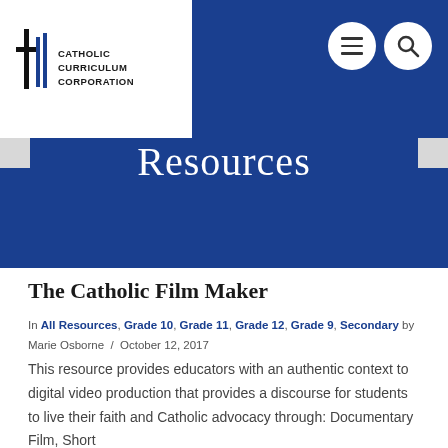[Figure (logo): Catholic Curriculum Corporation logo — a stylized cross with vertical lines in black and blue, with text 'CATHOLIC CURRICULUM CORPORATION' to the right]
Resources
The Catholic Film Maker
In All Resources, Grade 10, Grade 11, Grade 12, Grade 9, Secondary by Marie Osborne / October 12, 2017
This resource provides educators with an authentic context to digital video production that provides a discourse for students to live their faith and Catholic advocacy through: Documentary Film, Short